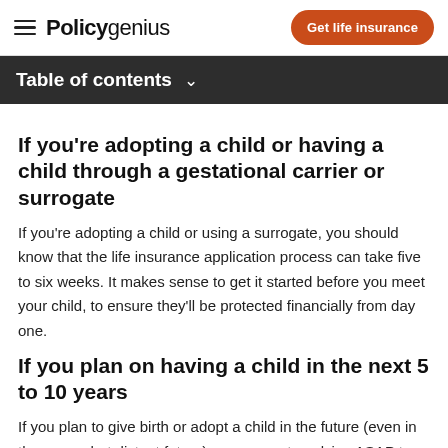Policygenius | Get life insurance
Table of contents
If you're adopting a child or having a child through a gestational carrier or surrogate
If you're adopting a child or using a surrogate, you should know that the life insurance application process can take five to six weeks. It makes sense to get it started before you meet your child, to ensure they'll be protected financially from day one.
If you plan on having a child in the next 5 to 10 years
If you plan to give birth or adopt a child in the future (even in the somewhat distant future), we suggest applying ASAP to lock in lower premiums. You should view life insurance as a financial